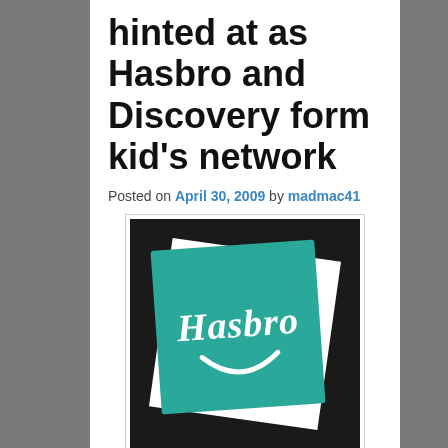hinted at as Hasbro and Discovery form kid's network
Posted on April 30, 2009 by madmac41
[Figure (logo): Hasbro logo: teal square with white 'Hasbro' script text and smile graphic on black background]
This info is straight from the GeneralsJoes site. Thanks for the Intel Justin.
Reuters is reporting that the Discovery Channel and